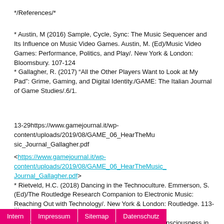*/References/*
* Austin, M (2016) Sample, Cycle, Sync: The Music Sequencer and Its Influence on Music Video Games. Austin, M. (Ed)/Music Video Games: Performance, Politics, and Play/. New York & London: Bloomsbury. 107-124
* Gallagher, R. (2017) “All the Other Players Want to Look at My Pad”: Grime, Gaming, and Digital Identity./GAME: The Italian Journal of Game Studies/.6/1.
13-29https://www.gamejournal.it/wp-content/uploads/2019/08/GAME_06_HearTheMusic_Journal_Gallagher.pdf
<https://www.gamejournal.it/wp-content/uploads/2019/08/GAME_06_HearTheMusic_Journal_Gallagher.pdf>
* Rietveld, H.C. (2018) Dancing in the Technoculture. Emmerson, S. (Ed)/The Routledge Research Companion to Electronic Music: Reaching Out with Technology/. New York & London: Routledge. 113-134
* Weinel, J. (2018)/Inner Sound: Altered States of Consciousness in Electronic Music and Audio-Visual Media/. New York& Oxford: Oxford UP.
...
Intern | Impressum | Sitemap | Datenschutz